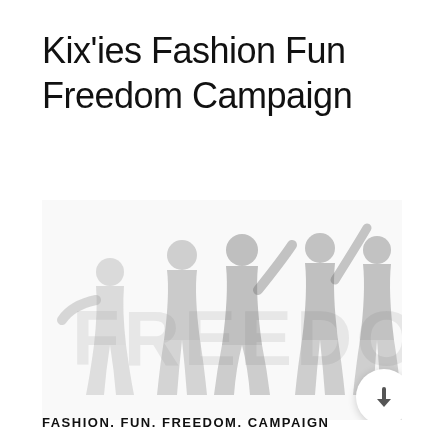Kix'ies Fashion Fun Freedom Campaign
[Figure (photo): A faded/washed-out black and white group photo of several women posing together, with a large watermark text 'FREEDOM' visible in the background]
FASHION. FUN. FREEDOM. CAMPAIGN